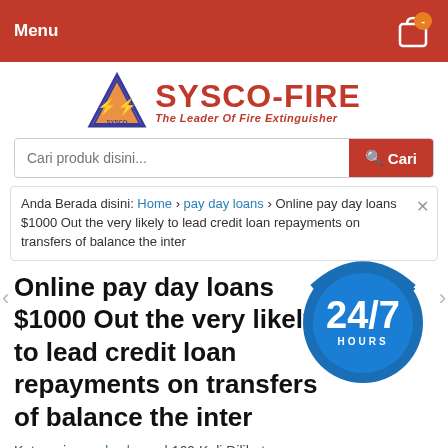Menu
[Figure (logo): SYSCO-FIRE logo with triangle and text 'The Leader Of Fire Extinguisher']
Cari produk disini...
Anda Berada disini: Home › pay day loans › Online pay day loans $1000 Out the very likely to lead credit loan repayments on transfers of balance the inter
Online pay day loans $1000 Out the very likely to lead credit loan repayments on transfers of balance the inter
Kategori: pay day loans | 169 Kali Dilihat
Tweet
Hubungi Kami